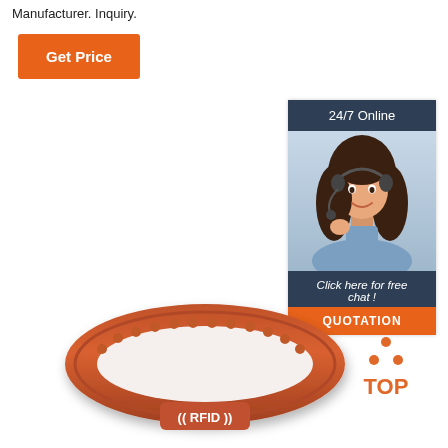Manufacturer. Inquiry.
Get Price
[Figure (infographic): Customer service chat widget with dark blue header showing '24/7 Online', photo of smiling woman with headset, italic text 'Click here for free chat !', orange QUOTATION button]
[Figure (photo): Red/orange silicone RFID wristband with ((RFID)) text on the clasp, top view showing adjustable strap with bumps]
[Figure (logo): TOP logo with orange dots forming triangle above the text]